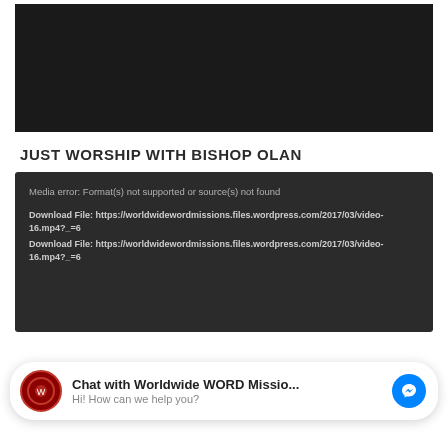[Figure (screenshot): Black video player placeholder area]
JUST WORSHIP WITH BISHOP OLAN
[Figure (screenshot): Dark media player box showing error: Media error: Format(s) not supported or source(s) not found. Download File: https://worldwidewordmissions.files.wordpress.com/2017/03/video-16.mp4?_=6 (listed twice)]
Chat with Worldwide WORD Missio... Hi! How can we help you?